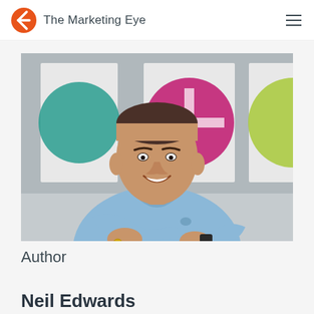The Marketing Eye
[Figure (photo): Professional headshot of Neil Edwards, a middle-aged man smiling with arms crossed, wearing a light blue shirt, with colorful artwork visible in the background.]
Author
Neil Edwards